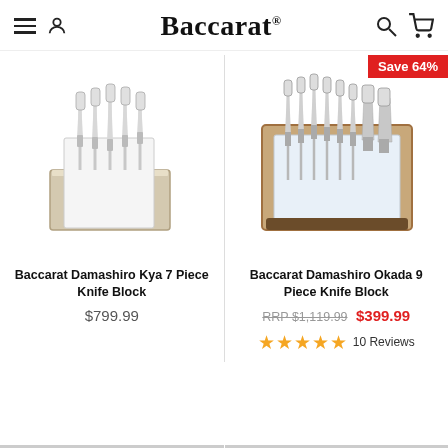Baccarat
[Figure (photo): Baccarat Damashiro Kya 7 Piece Knife Block - knives in a white/silver magnetic block]
Baccarat Damashiro Kya 7 Piece Knife Block
$799.99
[Figure (photo): Baccarat Damashiro Okada 9 Piece Knife Block - knives in a wooden frame block with Save 64% badge]
Save 64%
Baccarat Damashiro Okada 9 Piece Knife Block
RRP $1,119.99  $399.99
★★★★★ 10 Reviews